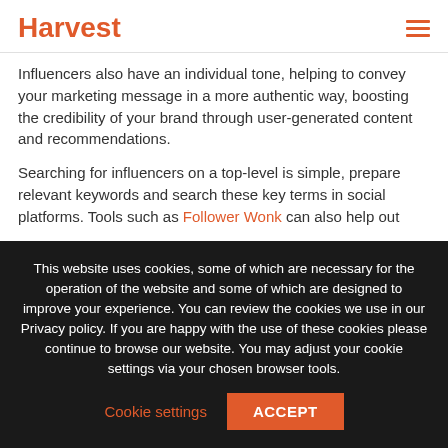Harvest
Influencers also have an individual tone, helping to convey your marketing message in a more authentic way, boosting the credibility of your brand through user-generated content and recommendations.
Searching for influencers on a top-level is simple, prepare relevant keywords and search these key terms in social platforms. Tools such as Follower Wonk can also help out
This website uses cookies, some of which are necessary for the operation of the website and some of which are designed to improve your experience. You can review the cookies we use in our Privacy policy. If you are happy with the use of these cookies please continue to browse our website. You may adjust your cookie settings via your chosen browser tools.
Cookie settings
ACCEPT